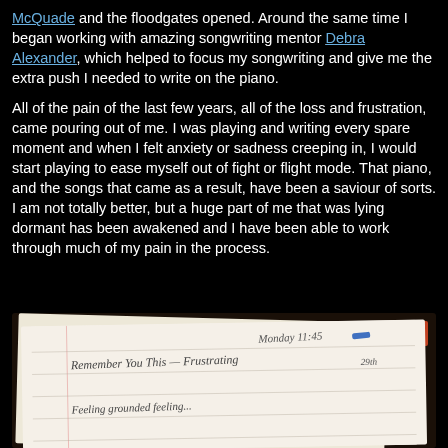McQuade and the floodgates opened. Around the same time I began working with amazing songwriting mentor Debra Alexander, which helped to focus my songwriting and give me the extra push I needed to write on the piano.

All of the pain of the last few years, all of the loss and frustration, came pouring out of me. I was playing and writing every spare moment and when I felt anxiety or sadness creeping in, I would start playing to ease myself out of fight or flight mode. That piano, and the songs that came as a result, have been a saviour of sorts. I am not totally better, but a huge part of me that was lying dormant has been awakened and I have been able to work through much of my pain in the process.
[Figure (photo): A photograph of an open notebook or journal showing handwritten text including 'Remember You This - Frustrating 29th', 'Monday 11:45', and 'Feeling grounded feeling...' written in cursive handwriting on lined notebook paper.]